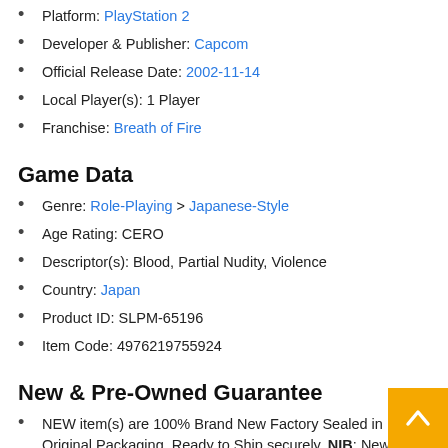Platform: PlayStation 2
Developer & Publisher: Capcom
Official Release Date: 2002-11-14
Local Player(s): 1 Player
Franchise: Breath of Fire
Game Data
Genre: Role-Playing > Japanese-Style
Age Rating: CERO
Descriptor(s): Blood, Partial Nudity, Violence
Country: Japan
Product ID: SLPM-65196
Item Code: 4976219755924
New & Pre-Owned Guarantee
NEW item(s) are 100% Brand New Factory Sealed in Original Packaging, Ready to Ship securely. NIB: New in Box
USED item(s) are cleaned and tested professionally, each individually wrapped to guarantee you a perfectly clear